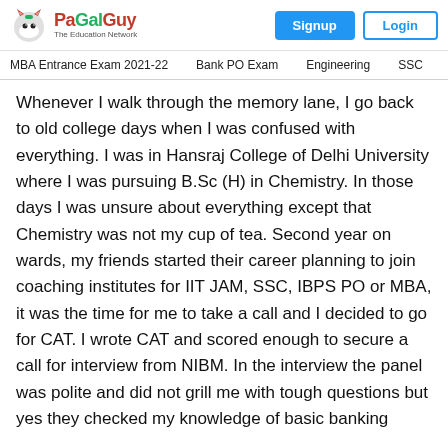PaGaLGuY – The Education Network | Signup | Login
MBA Entrance Exam 2021-22   Bank PO Exam   Engineering   SSC
Whenever I walk through the memory lane, I go back to old college days when I was confused with everything. I was in Hansraj College of Delhi University where I was pursuing B.Sc (H) in Chemistry. In those days I was unsure about everything except that Chemistry was not my cup of tea. Second year on wards, my friends started their career planning to join coaching institutes for IIT JAM, SSC, IBPS PO or MBA, it was the time for me to take a call and I decided to go for CAT. I wrote CAT and scored enough to secure a call for interview from NIBM. In the interview the panel was polite and did not grill me with tough questions but yes they checked my knowledge of basic banking